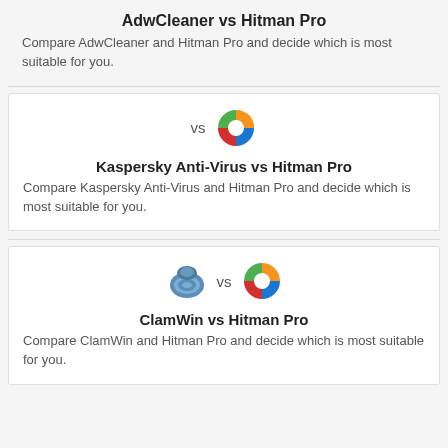AdwCleaner vs Hitman Pro
Compare AdwCleaner and Hitman Pro and decide which is most suitable for you.
[Figure (illustration): Kaspersky Anti-Virus logo vs Hitman Pro logo]
Kaspersky Anti-Virus vs Hitman Pro
Compare Kaspersky Anti-Virus and Hitman Pro and decide which is most suitable for you.
[Figure (illustration): ClamWin logo vs Hitman Pro logo]
ClamWin vs Hitman Pro
Compare ClamWin and Hitman Pro and decide which is most suitable for you.